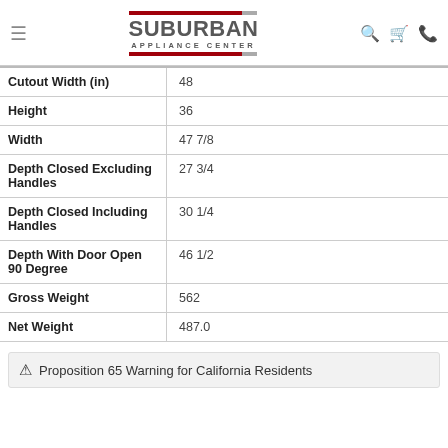Suburban Appliance Center
| Attribute | Value |
| --- | --- |
| Cutout Width (in) | 48 |
| Height | 36 |
| Width | 47 7/8 |
| Depth Closed Excluding Handles | 27 3/4 |
| Depth Closed Including Handles | 30 1/4 |
| Depth With Door Open 90 Degree | 46 1/2 |
| Gross Weight | 562 |
| Net Weight | 487.0 |
⚠ Proposition 65 Warning for California Residents